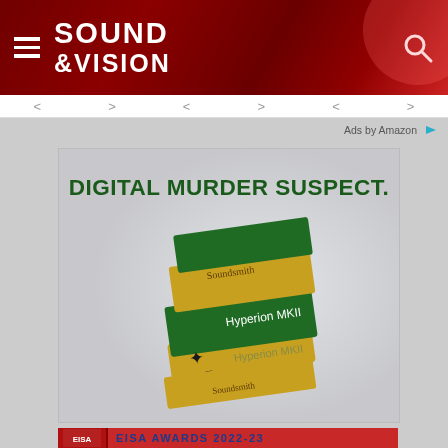Sound & Vision
Ads by Amazon
[Figure (photo): Soundsmith Hyperion MKII phono cartridge product advertisement. The image shows a green and gold phono cartridge with text 'DIGITAL MURDER SUSPECT.' at the top in dark green bold letters. The cartridge is labeled 'Soundsmith' and 'Hyperion MKII' on its body.]
[Figure (photo): Partial view of EISA AWARDS 2022-23 banner with red background and blue bold text]